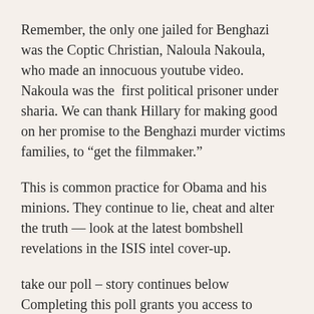Remember, the only one jailed for Benghazi was the Coptic Christian, Naloula Nakoula,  who made an innocuous youtube video. Nakoula was the  first political prisoner under sharia. We can thank Hillary for making good on her promise to the Benghazi murder victims families, to “get the filmmaker.”
This is common practice for Obama and his minions. They continue to lie, cheat and alter the truth — look at the latest bombshell revelations in the ISIS intel cover-up.
take our poll – story continues below Completing this poll grants you access to Freedom Outpost updates free of charge. You may opt out at anytime. You also agree to this site’s Privacy Policy and Terms of Use.
U.S. House Select Committee on the Events surrounding